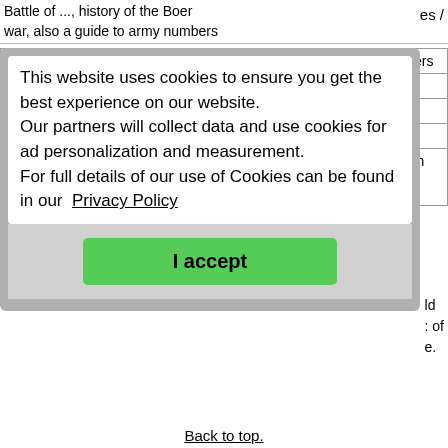Battle of ..., history of the Boer war, also a guide to army numbers
es /
[Figure (screenshot): Cookie consent modal dialog with text: 'This website uses cookies to ensure you get the best experience on our website. Our partners will collect data and use cookies for ad personalization and measurement. For full details of our use of Cookies can be found in our Privacy Policy' and a green 'I accept' button.]
ld
: of
e.
|  |  |
| --- | --- |
| Classification: | World War II, Ships, Diaries / Log Books / Letters |
| Title: | North-East Diary 1939-45 |
| Link: | https://ne-diary.genuki.uk/ |
| Description: | North-East Diary 1939-45 |
| Extra Info: | A detailed account of the war years in the North East compiled by Roy Ripley. Includes a list of warships built in the North East. |
Back to top.